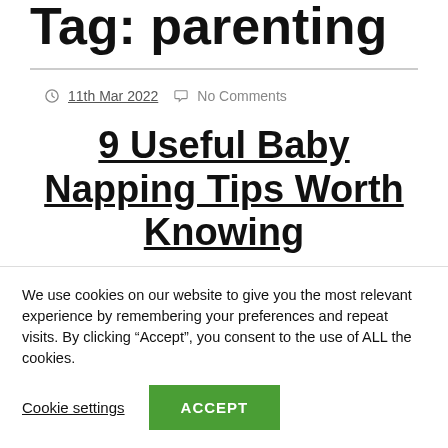Tag: parenting
11th Mar 2022  No Comments
9 Useful Baby Napping Tips Worth Knowing
We use cookies on our website to give you the most relevant experience by remembering your preferences and repeat visits. By clicking “Accept”, you consent to the use of ALL the cookies.
Cookie settings  ACCEPT